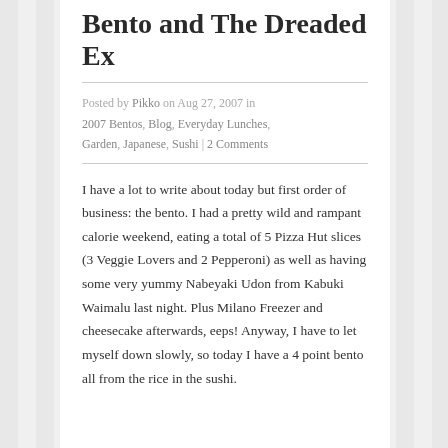Bento and The Dreaded Ex
Posted by Pikko on Aug 27, 2007 in 2007 Bentos, Blog, Everyday Lunches, Garden, Japanese, Sushi | 2 Comments
I have a lot to write about today but first order of business: the bento. I had a pretty wild and rampant calorie weekend, eating a total of 5 Pizza Hut slices (3 Veggie Lovers and 2 Pepperoni) as well as having some very yummy Nabeyaki Udon from Kabuki Waimalu last night. Plus Milano Freezer and cheesecake afterwards, eeps! Anyway, I have to let myself down slowly, so today I have a 4 point bento all from the rice in the sushi.